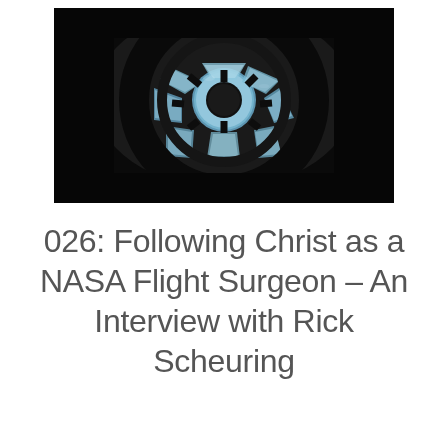[Figure (photo): Dark photograph of the ISS cupola window module viewed from inside, showing the circular multi-paned window with Earth's clouds visible through the glass panels, silhouetted frame in black.]
026: Following Christ as a NASA Flight Surgeon – An Interview with Rick Scheuring